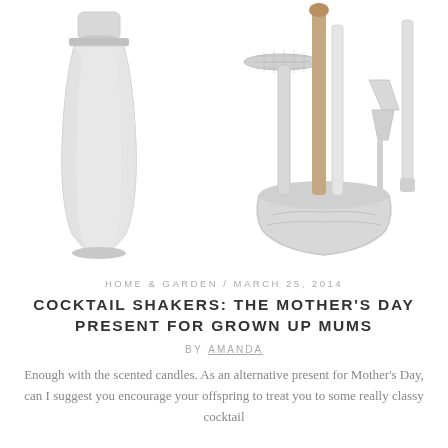[Figure (photo): Two cocktail shaker products side by side on white background: left is a single silver cocktail shaker, right is a bartender tool set in a silver hammered holder with various bar tools including strainer, spoon, and jigger.]
HOME & GARDEN / MARCH 25, 2014
COCKTAIL SHAKERS: THE MOTHER'S DAY PRESENT FOR GROWN UP MUMS
BY AMANDA
Enough with the scented candles. As an alternative present for Mother's Day, can I suggest you encourage your offspring to treat you to some really classy cocktail